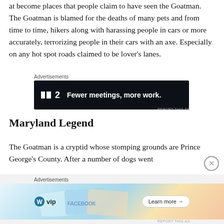at become places that people claim to have seen the Goatman. The Goatman is blamed for the deaths of many pets and from time to time, hikers along with harassing people in cars or more accurately, terrorizing people in their cars with an axe. Especially on any hot spot roads claimed to be lover's lanes.
[Figure (screenshot): Advertisement banner for Planview with dark background reading: P2 Fewer meetings, more work.]
Maryland Legend
The Goatman is a cryptid whose stomping grounds are Prince George's County. After a number of dogs went
[Figure (screenshot): Advertisement banner with WordPress VIP logo and social media card imagery with Learn more button]